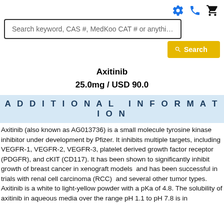Search keyword, CAS #, MedKoo CAT # or anything...
Axitinib
25.0mg / USD 90.0
ADDITIONAL INFORMATION
Axitinib (also known as AG013736) is a small molecule tyrosine kinase inhibitor under development by Pfizer. It inhibits multiple targets, including VEGFR-1, VEGFR-2, VEGFR-3, platelet derived growth factor receptor (PDGFR), and cKIT (CD117). It has been shown to significantly inhibit growth of breast cancer in xenograft models  and has been successful in trials with renal cell carcinoma (RCC)  and several other tumor types.
Axitinib is a white to light-yellow powder with a pKa of 4.8. The solubility of axitinib in aqueous media over the range pH 1.1 to pH 7.8 is in